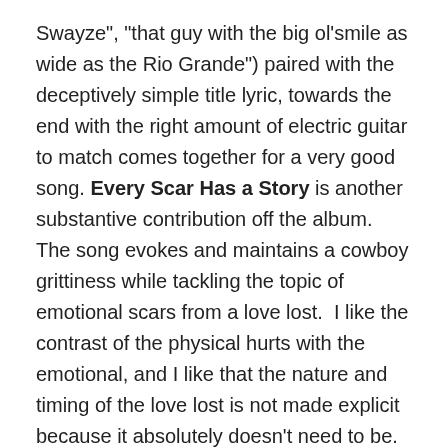Swayze", "that guy with the big ol'smile as wide as the Rio Grande") paired with the deceptively simple title lyric, towards the end with the right amount of electric guitar to match comes together for a very good song. Every Scar Has a Story is another substantive contribution off the album.  The song evokes and maintains a cowboy grittiness while tackling the topic of emotional scars from a love lost.  I like the contrast of the physical hurts with the emotional, and I like that the nature and timing of the love lost is not made explicit because it absolutely doesn't need to be.  It doesn't matter the details of the loss, we're more concerned with the fact of the scar and the lingering hurt and the nostalgic lyrics and tone of delivery almost summon up that these details are omitted because they are too painful and are trying to be forgot. Walk Away is a great